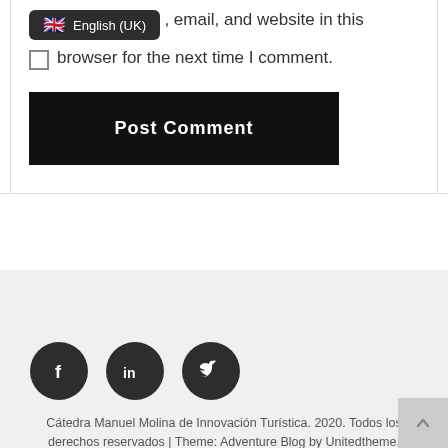[Figure (screenshot): Language selector badge showing UK flag and 'English (UK)' label in dark rounded rectangle tooltip]
, email, and website in this browser for the next time I comment.
[Figure (screenshot): Black 'Post Comment' button]
[Figure (infographic): Three dark circular social media icons: Facebook (f), LinkedIn (in), Twitter (bird)]
Cátedra Manuel Molina de Innovación Turística. 2020. Todos los derechos reservados | Theme: Adventure Blog by Unitedtheme.